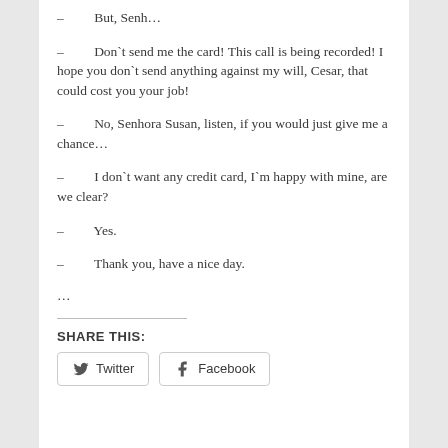– But, Senh…
– Don`t send me the card! This call is being recorded! I hope you don`t send anything against my will, Cesar, that could cost you your job!
– No, Senhora Susan, listen, if you would just give me a chance…
– I don`t want any credit card, I`m happy with mine, are we clear?
– Yes.
– Thank you, have a nice day.
…
SHARE THIS:
Twitter  Facebook